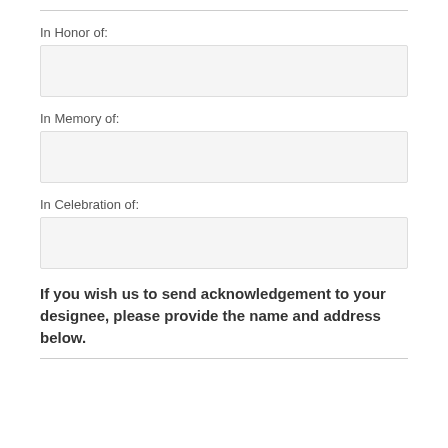In Honor of:
[Figure (other): Empty input field for 'In Honor of']
In Memory of:
[Figure (other): Empty input field for 'In Memory of']
In Celebration of:
[Figure (other): Empty input field for 'In Celebration of']
If you wish us to send acknowledgement to your designee, please provide the name and address below.